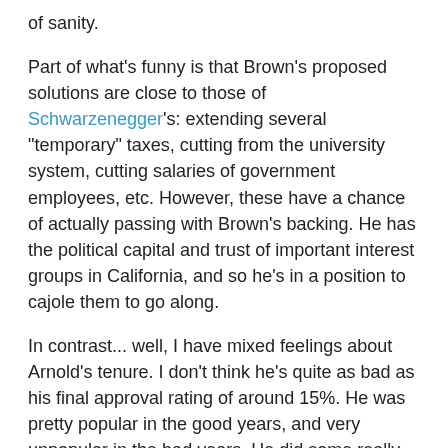of sanity.
Part of what's funny is that Brown's proposed solutions are close to those of Schwarzenegger's: extending several "temporary" taxes, cutting from the university system, cutting salaries of government employees, etc. However, these have a chance of actually passing with Brown's backing. He has the political capital and trust of important interest groups in California, and so he's in a position to cajole them to go along.
In contrast... well, I have mixed feelings about Arnold's tenure. I don't think he's quite as bad as his final approval rating of around 15%. He was pretty popular in the good years, and very unpopular in the bad years. He did some really good stuff during his tenure, notably his championing of AB32, the climate change bill, which he's clearly claiming now as his legacy.
Still, the main problem with Arnold was that he couldn't get the tough choices done. Due to our wacky budgeting process in California, any budget needs the support of the